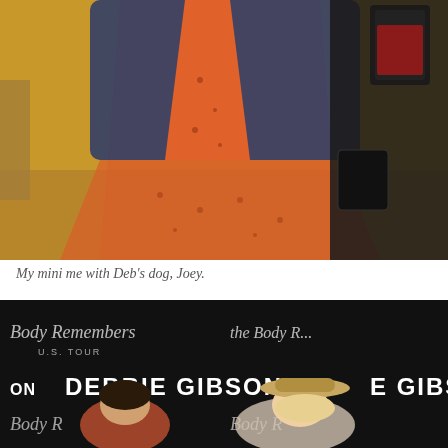[Figure (photo): Two people standing in a hallway. One wears a denim jacket over an orange floral dress, the other is dressed in black and carries a bag with a lanyard/badge.]
My mini me with Deb's dog, Joey.
[Figure (photo): Two women posing in front of a Debbie Gibson 'The Body Remembers U.S. Tour' step-and-repeat banner. One woman wears a hat.]